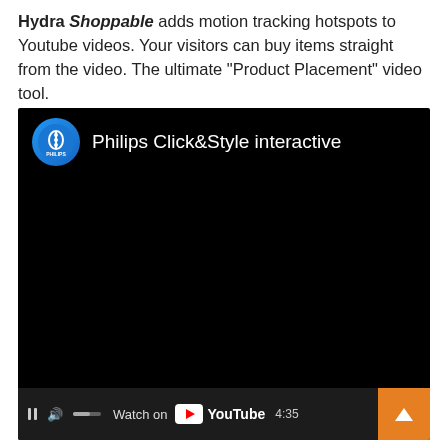Hydra Shoppable adds motion tracking hotspots to Youtube videos. Your visitors can buy items straight from the video. The ultimate "Product Placement" video tool.
[Figure (screenshot): Embedded YouTube video player screenshot showing 'Philips Click&Style interactive' video. The video is paused on a black screen with the Philips logo and video title visible at the top. The bottom control bar shows 'Watch on YouTube' text, play controls, time display '0:00 / 4:35', CC button, and an orange arrow/scroll-to-top button.]